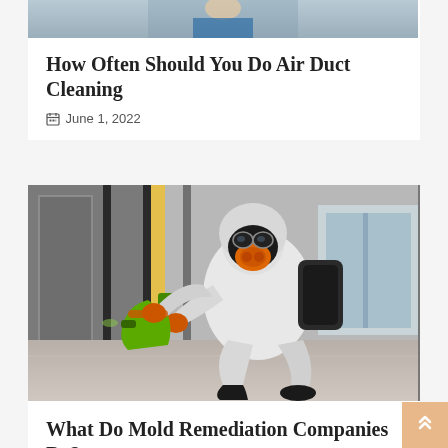[Figure (photo): Partial top of a card showing a person holding a clipboard, cropped at top]
How Often Should You Do Air Duct Cleaning
June 1, 2022
[Figure (photo): A person in full white hazmat suit and gas mask with orange respirator, crouching and spraying green chemical from a spray bottle inside a corridor]
What Do Mold Remediation Companies Do?